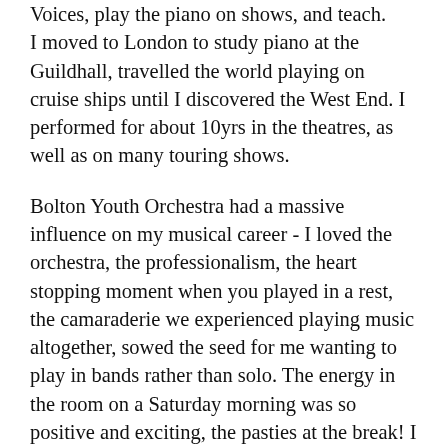Voices, play the piano on shows, and teach. I moved to London to study piano at the Guildhall, travelled the world playing on cruise ships until I discovered the West End. I performed for about 10yrs in the theatres, as well as on many touring shows.
Bolton Youth Orchestra had a massive influence on my musical career - I loved the orchestra, the professionalism, the heart stopping moment when you played in a rest, the camaraderie we experienced playing music altogether, sowed the seed for me wanting to play in bands rather than solo. The energy in the room on a Saturday morning was so positive and exciting, the pasties at the break! I wish every child could experience it! (Unless you got chosen to demo your efforts at the Academic Overture from the comfort of back desk seconds!) The ageless, classless environment knitted kids together from so many diverse backgrounds, helped by free music lessons, created a limitless feeling for our